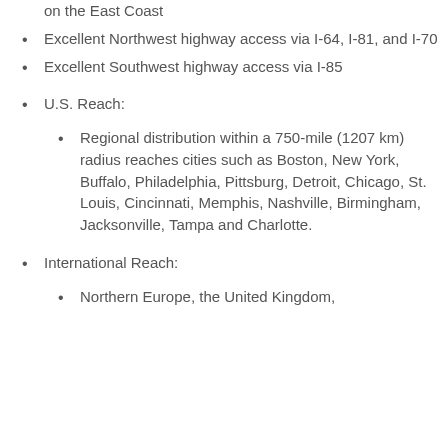on the East Coast
Excellent Northwest highway access via I-64, I-81, and I-70
Excellent Southwest highway access via I-85
U.S. Reach:
Regional distribution within a 750-mile (1207 km) radius reaches cities such as Boston, New York, Buffalo, Philadelphia, Pittsburg, Detroit, Chicago, St. Louis, Cincinnati, Memphis, Nashville, Birmingham, Jacksonville, Tampa and Charlotte.
International Reach:
Northern Europe, the United Kingdom,